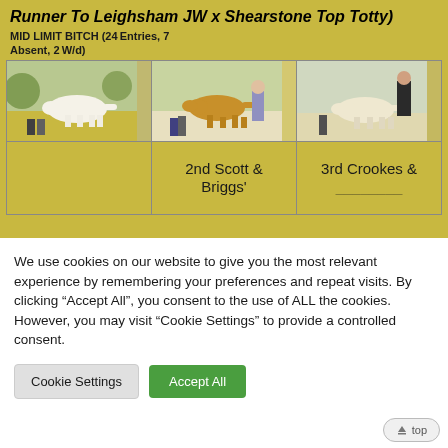Runner To Leighsham JW x Shearstone Top Totty)
MID LIMIT BITCH (24Entries, 7
Absent, 2W/d)
[Figure (photo): Three photos of Golden Retriever dogs at GRC Centenary show, arranged in a grid with text labels '2nd Scott & Briggs'' and '3rd Crookes &' below the photos]
2nd Scott & Briggs'
3rd Crookes &
We use cookies on our website to give you the most relevant experience by remembering your preferences and repeat visits. By clicking “Accept All”, you consent to the use of ALL the cookies. However, you may visit "Cookie Settings" to provide a controlled consent.